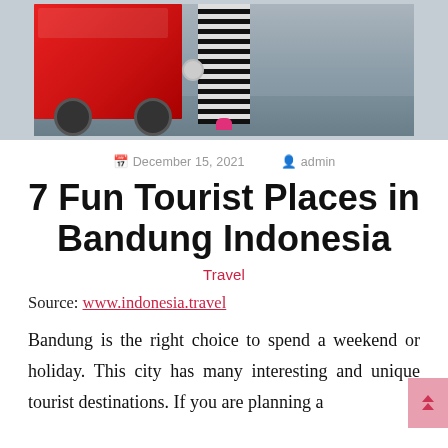[Figure (photo): Photo showing a red vehicle on the left and a person wearing a black-and-white striped outfit standing in a parking lot or road area.]
December 15, 2021   admin
7 Fun Tourist Places in Bandung Indonesia
Travel
Source: www.indonesia.travel
Bandung is the right choice to spend a weekend or holiday. This city has many interesting and unique tourist destinations. If you are planning a